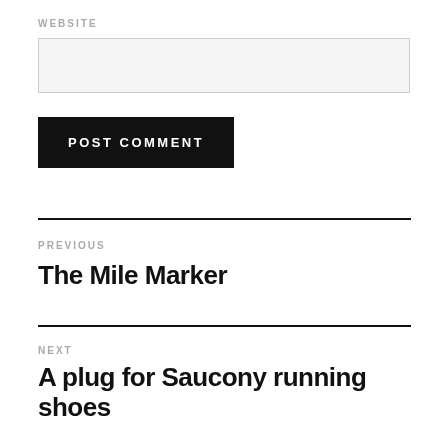WEBSITE
[input box]
POST COMMENT
PREVIOUS
The Mile Marker
NEXT
A plug for Saucony running shoes